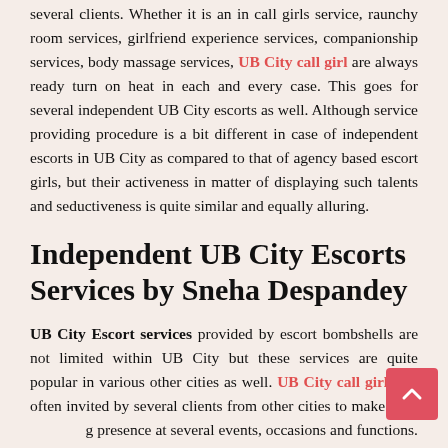several clients. Whether it is an in call girls service, raunchy room services, girlfriend experience services, companionship services, body massage services, UB City call girl are always ready turn on heat in each and every case. This goes for several independent UB City escorts as well. Although service providing procedure is a bit different in case of independent escorts in UB City as compared to that of agency based escort girls, but their activeness in matter of displaying such talents and seductiveness is quite similar and equally alluring.
Independent UB City Escorts Services by Sneha Despandey
UB City Escort services provided by escort bombshells are not limited within UB City but these services are quite popular in various other cities as well. UB City call girls are often invited by several clients from other cities to make their presence at several events, occasions and functions. So this is